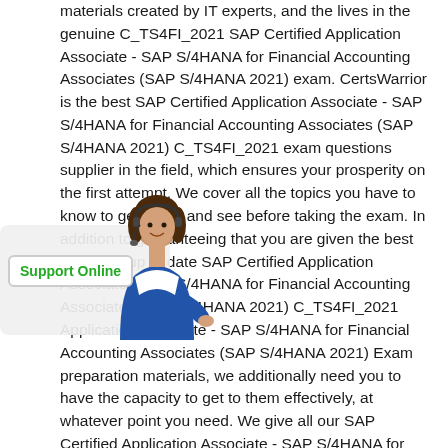materials created by IT experts, and the lives in the genuine C_TS4FI_2021 SAP Certified Application Associate - SAP S/4HANA for Financial Accounting Associates (SAP S/4HANA 2021) exam. CertsWarrior is the best SAP Certified Application Associate - SAP S/4HANA for Financial Accounting Associates (SAP S/4HANA 2021) C_TS4FI_2021 exam questions supplier in the field, which ensures your prosperity on the first attempt. We cover all the topics you have to know to get ready and see before taking the exam. In addition to guaranteeing that you are given the best and most up to date SAP Certified Application Associate - SAP S/4HANA for Financial Accounting Associates (SAP S/4HANA 2021) C_TS4FI_2021 Application Associate - SAP S/4HANA for Financial Accounting Associates (SAP S/4HANA 2021) Exam preparation materials, we additionally need you to have the capacity to get to them effectively, at whatever point you need. We give all our SAP Certified Application Associate - SAP S/4HANA for Financial Accounting Associates (SAP S/4HANA 2021) C_TS4FI_2021 Integrating SAP Certified Application Associate - SAP S/4HANA for Financial Accounting Associates (SAP S/4HANA 2021) Exam preparing material in PDF format, which can be opened on almost PCs and devices. Despite whichever PC you have, you simply
[Figure (illustration): Support Online widget showing a woman with a headset and a 'Support Online' label button, overlaid on the text]